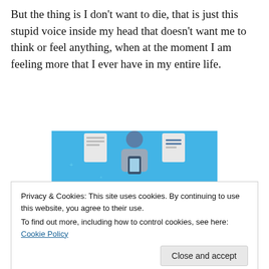But the thing is I don't want to die, that is just this stupid voice inside my head that doesn't want me to think or feel anything, when at the moment I am feeling more that I ever have in my entire life.
[Figure (illustration): Day One journaling app advertisement banner with blue background, showing a person holding a phone, with icons and text 'DAY ONE - The only journaling app you'll ever need.']
Privacy & Cookies: This site uses cookies. By continuing to use this website, you agree to their use.
To find out more, including how to control cookies, see here: Cookie Policy